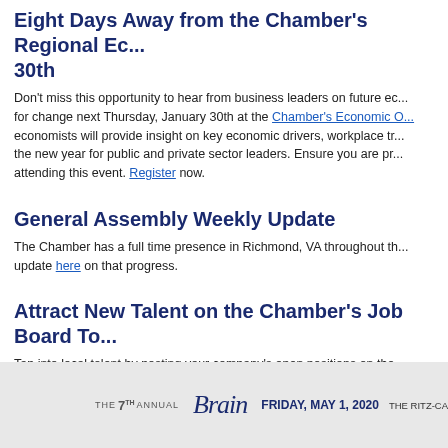Eight Days Away from the Chamber's Regional Ec... 30th
Don't miss this opportunity to hear from business leaders on future ec... for change next Thursday, January 30th at the Chamber's Economic O... economists will provide insight on key economic drivers, workplace tr... the new year for public and private sector leaders. Ensure you are pr... attending this event. Register now.
General Assembly Weekly Update
The Chamber has a full time presence in Richmond, VA throughout th... update here on that progress.
Attract New Talent on the Chamber's Job Board To...
Tap into local talent by posting your company's open positions on the... post open positions for free; non-members may post open positions f...
Member News
[Figure (infographic): The 7th Annual Brain event advertisement: Friday, May 1, 2020 at The Ritz-Carlton, WA]